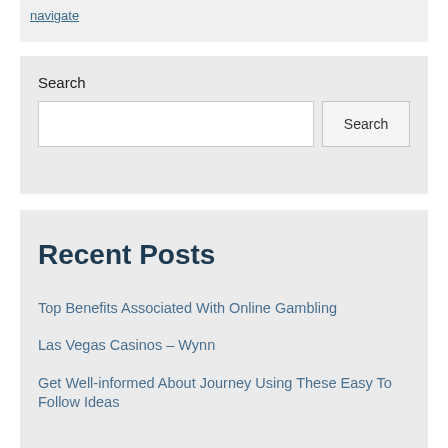navigate
Search
Search
Recent Posts
Top Benefits Associated With Online Gambling
Las Vegas Casinos – Wynn
Get Well-informed About Journey Using These Easy To Follow Ideas